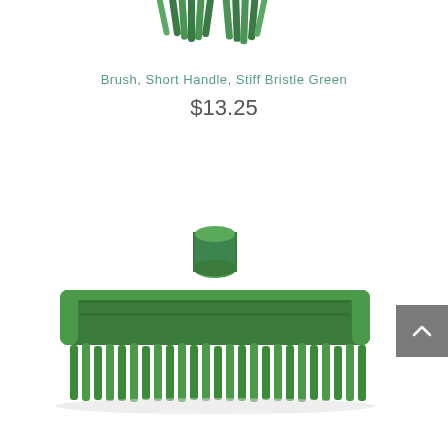[Figure (photo): Top portion of a green stiff-bristle brush head, cropped at the top of the page, showing green bristles from above]
Brush, Short Handle, Stiff Bristle Green
$13.25
[Figure (photo): Green short-handle scrub brush with stiff green bristles, viewed from the side at a slight angle. The brush has a green plastic body with a cylindrical handle socket on top.]
[Figure (other): Gray scroll-to-top button with an upward-pointing chevron arrow, positioned on the right edge of the page]